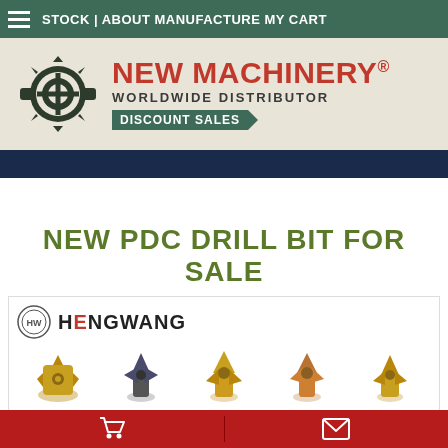STOCK | ABOUT MANUFACTURE MY CART
[Figure (logo): New Machinery worldwide distributor discount sales logo with gear icon]
NEW PDC DRILL BIT FOR SALE
[Figure (photo): Hengwang branded PDC drill bits product photo showing 10 drill bits in two rows of 5, various styles including gold, blue, and black colored bits]
Shopping cart icon | Envelope icon